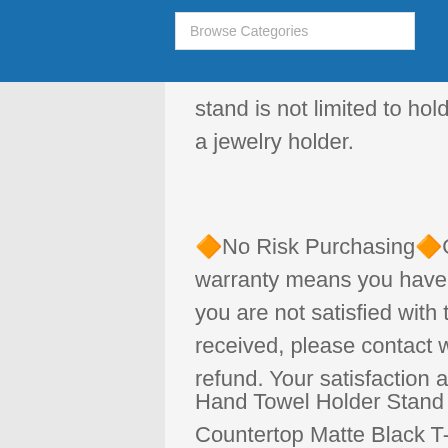Browse Categories
stand is not limited to holding a towel,it's also a jewelry holder.
🔶No Risk Purchasing🔶Our lifetime warranty means you have nothing to lose.If you are not satisfied with the items you received, please contact with us for a full refund. Your satisfaction and trust is our goal
Hand Towel Holder Stand for Bathroom Vanity Countertop Matte Black T-Shape Towel Bar Rack Stand Towel Bar for